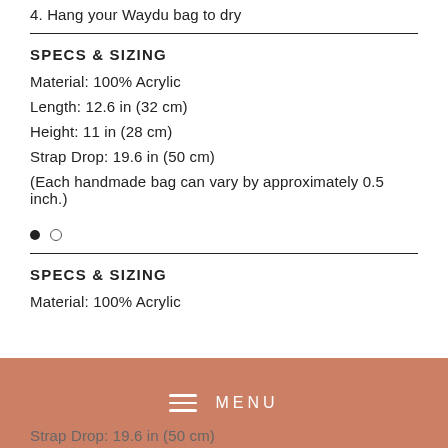4. Hang your Waydu bag to dry
SPECS & SIZING
Material: 100% Acrylic
Length: 12.6 in (32 cm)
Height: 11 in (28 cm)
Strap Drop: 19.6 in (50 cm)
(Each handmade bag can vary by approximately 0.5 inch.)
SPECS & SIZING
Material: 100% Acrylic
Strap Drop: 19.6 in (50 cm)